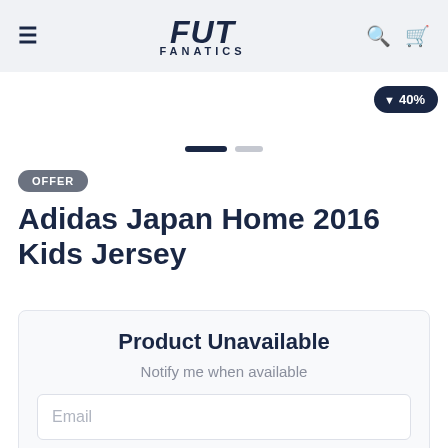FUT FANATICS
[Figure (screenshot): Slideshow navigation dots — one active (dark) and one inactive (grey) pill-shaped indicator]
▼ 40%
OFFER
Adidas Japan Home 2016 Kids Jersey
Product Unavailable
Notify me when available
Email
Warn me